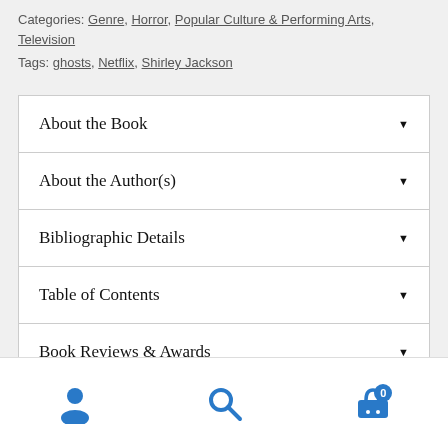Categories: Genre, Horror, Popular Culture & Performing Arts, Television
Tags: ghosts, Netflix, Shirley Jackson
About the Book
About the Author(s)
Bibliographic Details
Table of Contents
Book Reviews & Awards
Navigation bar with user, search, and cart icons